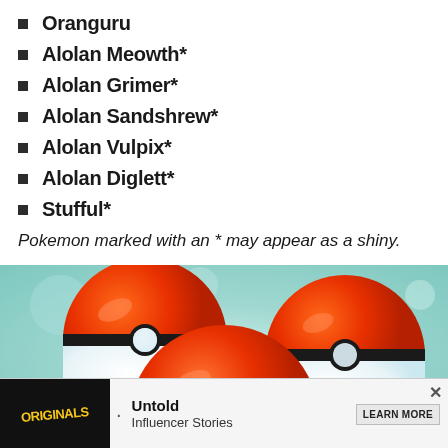Oranguru
Alolan Meowth*
Alolan Grimer*
Alolan Sandshrew*
Alolan Vulpix*
Alolan Diglett*
Stufful*
Pokemon marked with an * may appear as a shiny.
[Figure (photo): Three red and white Pokeballs from Pokemon GO on a light blue/green blurred background]
Originals · Untold Influencer Stories LEARN MORE